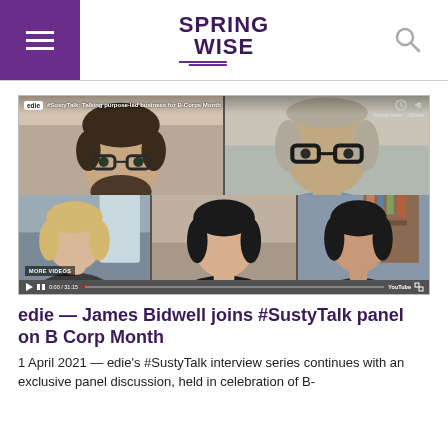SPRINGWISE
[Figure (screenshot): Video thumbnail showing a virtual panel discussion with 5 participants in a grid layout. Top overlay shows 'edie' badge and title '#SustyTalk: Talking purpose-led business for B-Corps Month'. Watch later and Share controls visible top right. MORE VIDEOS badge bottom left. YouTube playback bar at bottom.]
edie — James Bidwell joins #SustyTalk panel on B Corp Month
1 April 2021 — edie's #SustyTalk interview series continues with an exclusive panel discussion, held in celebration of B-